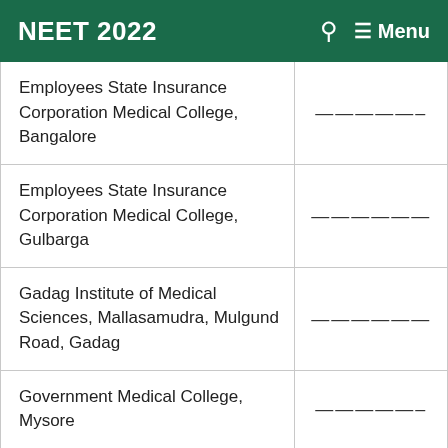NEET 2022   🔍   ☰ Menu
| Employees State Insurance Corporation Medical College, Bangalore | —————– |
| Employees State Insurance Corporation Medical College, Gulbarga | —————— |
| Gadag Institute of Medical Sciences, Mallasamudra, Mulgund Road, Gadag | —————— |
| Government Medical College, Mysore | —————– |